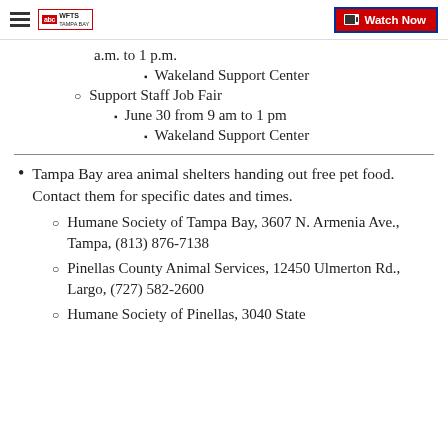WFTS Tampa Bay — Watch Now
a.m. to 1 p.m.
Wakeland Support Center
Support Staff Job Fair
June 30 from 9 am to 1 pm
Wakeland Support Center
Tampa Bay area animal shelters handing out free pet food. Contact them for specific dates and times.
Humane Society of Tampa Bay, 3607 N. Armenia Ave., Tampa, (813) 876-7138
Pinellas County Animal Services, 12450 Ulmerton Rd., Largo, (727) 582-2600
Humane Society of Pinellas, 3040 State